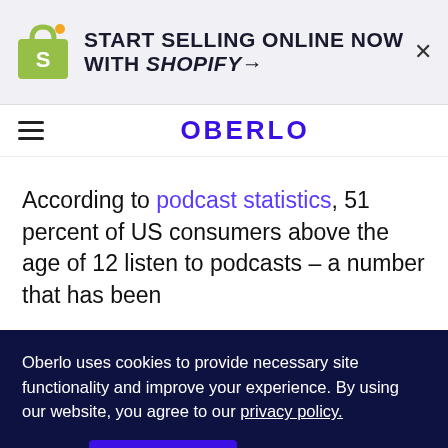[Figure (infographic): Shopify ad banner with logo and text: START SELLING ONLINE NOW WITH SHOPIFY→, with a close X button]
OBERLO
According to podcast statistics, 51 percent of US consumers above the age of 12 listen to podcasts – a number that has been
Oberlo uses cookies to provide necessary site functionality and improve your experience. By using our website, you agree to our privacy policy.
Reject  ACCEPT